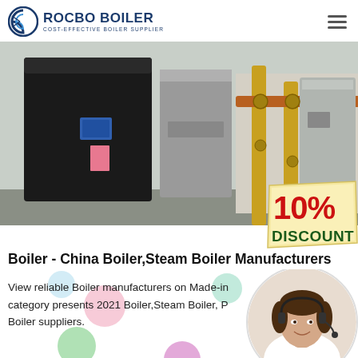[Figure (logo): Rocbo Boiler logo with circular icon and text 'ROCBO BOILER - COST-EFFECTIVE BOILER SUPPLIER']
[Figure (photo): Industrial boiler room with black and grey boiler units, yellow gas pipes, and a 10% DISCOUNT badge overlay]
Boiler - China Boiler,Steam Boiler Manufacturers
View reliable Boiler manufacturers on Made-in category presents 2021 Boiler,Steam Boiler, P Boiler suppliers.
[Figure (photo): Customer service representative (woman with headset) in circular crop, positioned at right side]